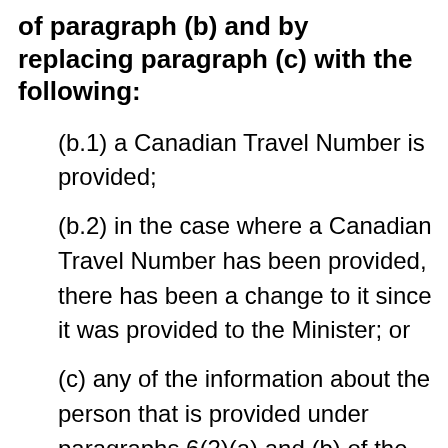of paragraph (b) and by replacing paragraph (c) with the following:
(b.1) a Canadian Travel Number is provided;
(b.2) in the case where a Canadian Travel Number has been provided, there has been a change to it since it was provided to the Minister; or
(c) any of the information about the person that is provided under paragraphs 6(2)(a) and (b) of the Act has significantly changed since it was provided to the Minister.